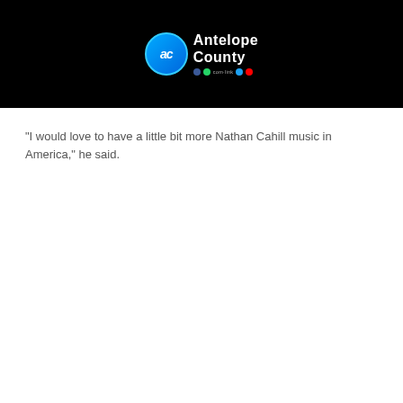[Figure (logo): Antelope County logo with 'ac' initials in a blue circle, text 'Antelope County' in white on black background, with social media icons below]
“I would love to have a little bit more Nathan Cahill music in America,” he said.